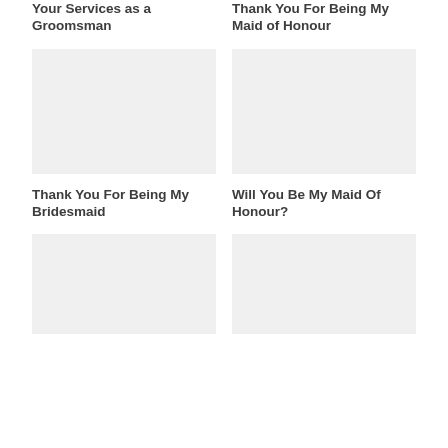Your Services as a Groomsman
Thank You For Being My Maid of Honour
[Figure (other): Placeholder image, light gray background]
[Figure (other): Placeholder image, light gray background]
Thank You For Being My Bridesmaid
Will You Be My Maid Of Honour?
[Figure (other): Placeholder image, light gray background]
[Figure (other): Placeholder image, light gray background]